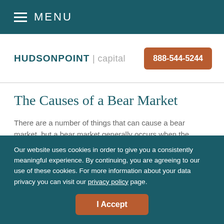MENU
[Figure (logo): HUDSONPOINT capital logo with phone number 888-544-5244]
The Causes of a Bear Market
There are a number of things that can cause a bear market, but a bear market generally occurs when the markets are experiencing:
Our website uses cookies in order to give you a consistently meaningful experience. By continuing, you are agreeing to our use of these cookies. For more information about your data privacy you can visit our privacy policy page.